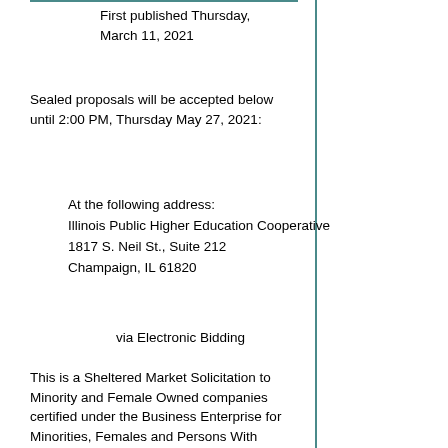First published Thursday, March 11, 2021
Sealed proposals will be accepted below until 2:00 PM, Thursday May 27, 2021:
At the following address:
Illinois Public Higher Education Cooperative
1817 S. Neil St., Suite 212
Champaign, IL 61820
via Electronic Bidding
This is a Sheltered Market Solicitation to Minority and Female Owned companies certified under the Business Enterprise for Minorities, Females and Persons With Disabilities Act (30 ILCS 575).
Under the Business Enterprise for Minorities, Females and Persons with Disabilities Act, 30 ILCS 575/1 et seq. (BEP Act), the State of Illinois Business Enterprise Council (BEP Council) is charged to receive, review and discuss